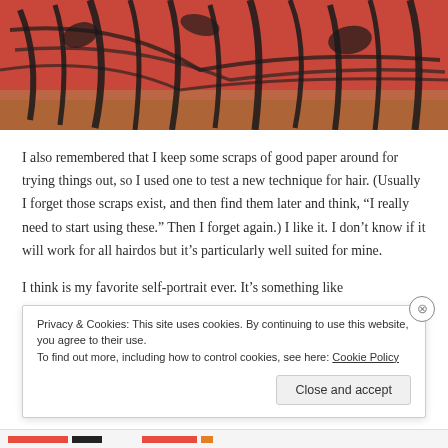[Figure (photo): Abstract painting with red/orange background and dark gestural brush strokes, appearing to be a textured artwork]
I also remembered that I keep some scraps of good paper around for trying things out, so I used one to test a new technique for hair. (Usually I forget those scraps exist, and then find them later and think, “I really need to start using these.” Then I forget again.) I like it. I don’t know if it will work for all hairdos but it’s particularly well suited for mine.
I think is my favorite self-portrait ever. It’s something like
Privacy & Cookies: This site uses cookies. By continuing to use this website, you agree to their use.
To find out more, including how to control cookies, see here: Cookie Policy
Close and accept